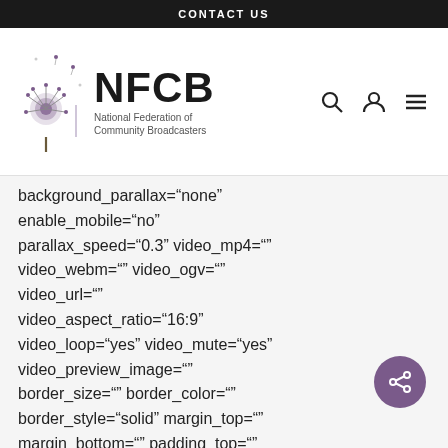CONTACT US
[Figure (logo): NFCB - National Federation of Community Broadcasters logo with dandelion illustration]
background_parallax="none" enable_mobile="no" parallax_speed="0.3" video_mp4="" video_webm="" video_ogv="" video_url="" video_aspect_ratio="16:9" video_loop="yes" video_mute="yes" video_preview_image="" border_size="" border_color="" border_style="solid" margin_top="" margin_bottom="" padding_top=""